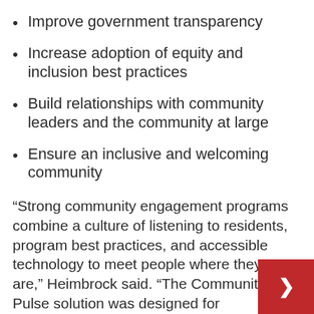Improve government transparency
Increase adoption of equity and inclusion best practices
Build relationships with community leaders and the community at large
Ensure an inclusive and welcoming community
“Strong community engagement programs combine a culture of listening to residents, program best practices, and accessible technology to meet people where they are,” Heimbrock said. “The Community Pulse solution was designed for government with industry-validated methodo and best practices. Building trust in government